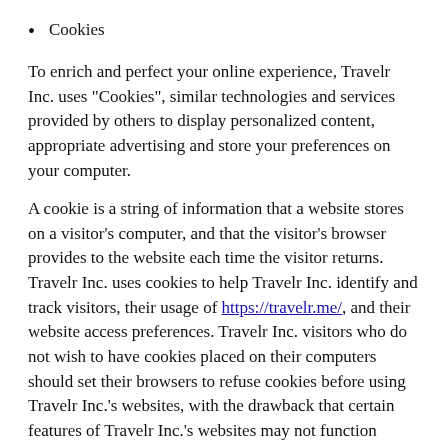Cookies
To enrich and perfect your online experience, Travelr Inc. uses "Cookies", similar technologies and services provided by others to display personalized content, appropriate advertising and store your preferences on your computer.
A cookie is a string of information that a website stores on a visitor's computer, and that the visitor's browser provides to the website each time the visitor returns. Travelr Inc. uses cookies to help Travelr Inc. identify and track visitors, their usage of https://travelr.me/, and their website access preferences. Travelr Inc. visitors who do not wish to have cookies placed on their computers should set their browsers to refuse cookies before using Travelr Inc.'s websites, with the drawback that certain features of Travelr Inc.'s websites may not function properly without the aid of cookies.